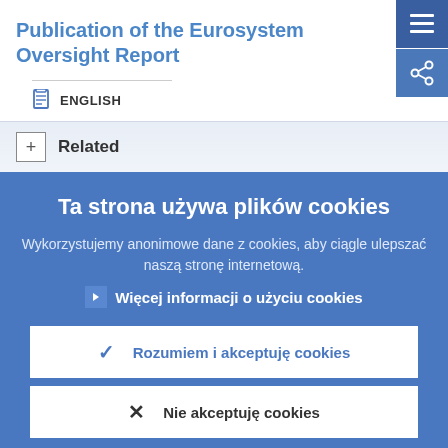Publication of the Eurosystem Oversight Report
ENGLISH
Related
Ta strona używa plików cookies
Wykorzystujemy anonimowe dane z cookies, aby ciągle ulepszać naszą stronę internetową.
Więcej informacji o użyciu cookies
Rozumiem i akceptuję cookies
Nie akceptuję cookies